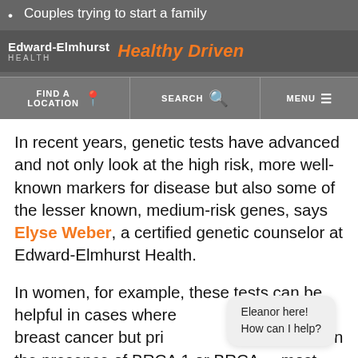Edward-Elmhurst HEALTH | Healthy Driven
Couples trying to start a family
Diagnosing disease or specific conditions
Helping doctors determine a treatment plan
In recent years, genetic tests have advanced and not only look at the high risk, more well-known markers for disease but also some of the lesser known, medium-risk genes, says Elyse Weber, a certified genetic counselor at Edward-Elmhurst Health.
In women, for example, these tests can be helpful in cases where [there is a family] history of breast cancer but prior [testing has not] shown the presence of BRCA 1 or BRCA [2, the] most common genes linked to breast cancer.